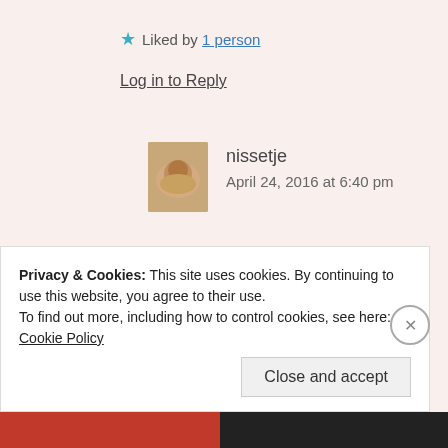★ Liked by 1 person
Log in to Reply
nissetje
April 24, 2016 at 6:40 pm
Lovely. 🙂
★ Liked by 1 person
Privacy & Cookies: This site uses cookies. By continuing to use this website, you agree to their use.
To find out more, including how to control cookies, see here: Cookie Policy
Close and accept